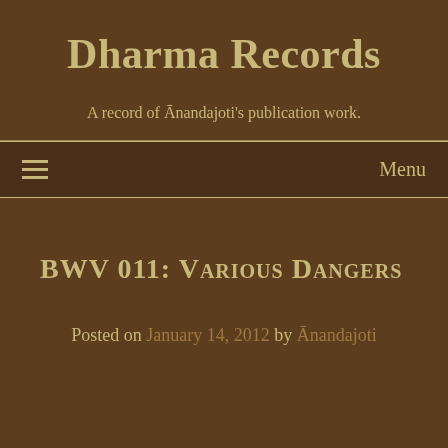Dharma Records
A record of Ānandajoti's publication work.
≡  Menu
BWV 011: Various Dangers
Posted on January 14, 2012 by Ānandajoti